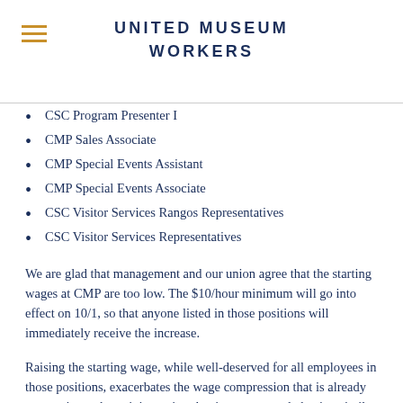UNITED MUSEUM WORKERS
CSC Program Presenter I
CMP Sales Associate
CMP Special Events Assistant
CMP Special Events Associate
CSC Visitor Services Rangos Representatives
CSC Visitor Services Representatives
We are glad that management and our union agree that the starting wages at CMP are too low. The $10/hour minimum will go into effect on 10/1, so that anyone listed in those positions will immediately receive the increase.
Raising the starting wage, while well-deserved for all employees in those positions, exacerbates the wage compression that is already present in our bargaining unit—that is, many people having similar wages, regardless of length of service. Our union has obtained a formal